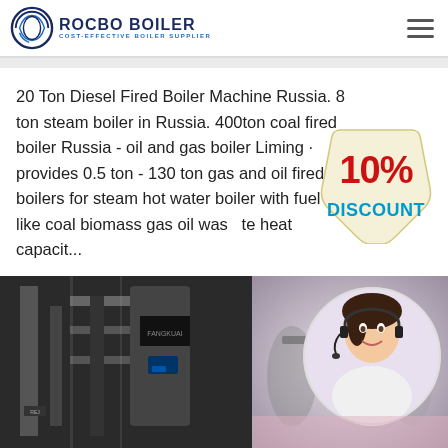[Figure (logo): Rocbo Boiler logo with circular emblem and text 'ROCBO BOILER - COST-EFFECTIVE BOILER SUPPLIER']
20 Ton Diesel Fired Boiler Machine Russia. 8 ton steam boiler in Russia. 400ton coal fired boiler Russia - oil and gas boiler Liming · provides 0.5 ton - 130 ton gas and oil fired boilers for steam hot water boiler with fuel like coal biomass gas oil waste heat capacit...
[Figure (infographic): 10% DISCOUNT badge in red and blue text on a cream/beige tag shape]
[Figure (photo): Industrial boiler machinery photograph in black and white / greyscale showing pipes and equipment with Fangkuai branding]
[Figure (photo): Customer service representative smiling wearing a headset, in a circular frame overlay on office background]